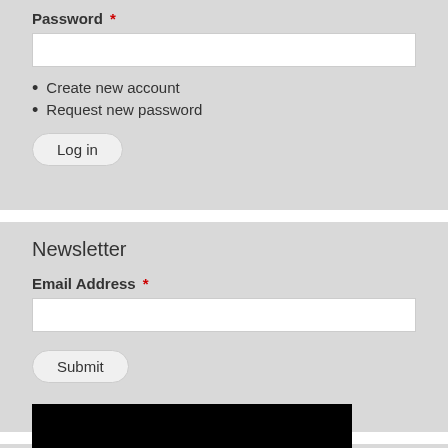Password *
[Figure (screenshot): Password text input field (white rectangle)]
Create new account
Request new password
[Figure (screenshot): Log in button with rounded border]
Newsletter
Email Address *
[Figure (screenshot): Email address text input field (white rectangle)]
[Figure (screenshot): Submit button with rounded border]
[Figure (photo): Black rectangle image at bottom]